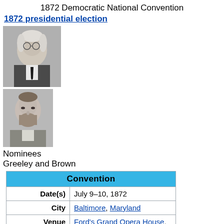1872 Democratic National Convention
1872 presidential election
[Figure (photo): Black and white portrait photograph of an older man with white hair and glasses, wearing a dark coat and light shirt.]
[Figure (photo): Black and white portrait photograph of a younger man with a beard, wearing a suit jacket.]
Nominees
Greeley and Brown
| Convention |
| --- |
| Date(s) | July 9–10, 1872 |
| City | Baltimore, Maryland |
| Venue | Ford's Grand Opera House, East Fayette Street (between North Howard & Eutaw Streets) |